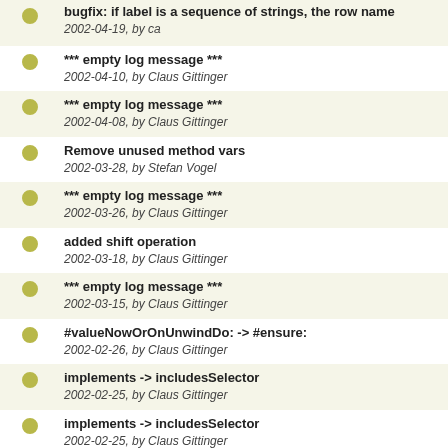bugfix: if label is a sequence of strings, the row name
2002-04-19, by ca
*** empty log message ***
2002-04-10, by Claus Gittinger
*** empty log message ***
2002-04-08, by Claus Gittinger
Remove unused method vars
2002-03-28, by Stefan Vogel
*** empty log message ***
2002-03-26, by Claus Gittinger
added shift operation
2002-03-18, by Claus Gittinger
*** empty log message ***
2002-03-15, by Claus Gittinger
#valueNowOrOnUnwindDo: -> #ensure:
2002-02-26, by Claus Gittinger
implements -> includesSelector
2002-02-25, by Claus Gittinger
implements -> includesSelector
2002-02-25, by Claus Gittinger
*** empty log message ***
2002-02-18, by Claus Gittinger
*** empty log message ***
2002-02-18, by Claus Gittinger